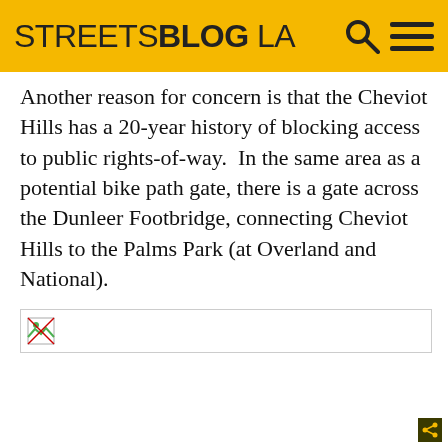STREETSBLOG LA
Another reason for concern is that the Cheviot Hills has a 20-year history of blocking access to public rights-of-way.  In the same area as a potential bike path gate, there is a gate across the Dunleer Footbridge, connecting Cheviot Hills to the Palms Park (at Overland and National).
[Figure (photo): Broken/unloaded image placeholder below article text]